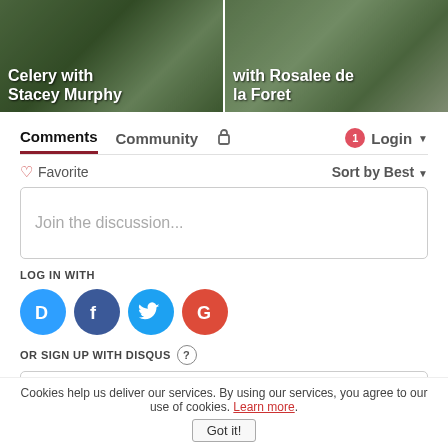[Figure (screenshot): Two video/article thumbnail cards side by side. Left card shows 'Celery with Stacey Murphy' text over a green background. Right card shows 'with Rosalee de la Foret' text over a green/nature background.]
Comments  Community  🔒  1  Login
♡ Favorite   Sort by Best ▼
Join the discussion...
LOG IN WITH
[Figure (logo): Social login icons: Disqus (blue D), Facebook (dark blue f), Twitter (light blue bird), Google (red G)]
OR SIGN UP WITH DISQUS ?
Name
Cookies help us deliver our services. By using our services, you agree to our use of cookies. Learn more.
Got it!